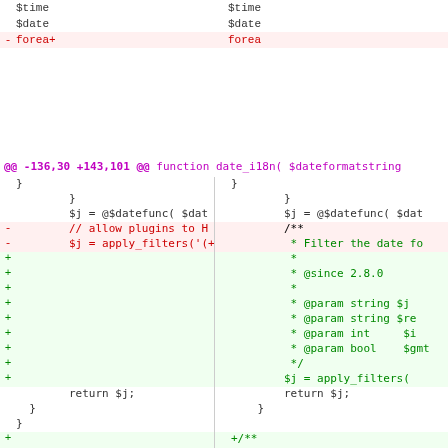Top strip: context rows showing $time, $date, and removed 'forea+' lines
@@ -136,30 +143,101 @@ function date_i18n( $dateformatstring
Diff content showing removed lines (// allow plugins to, $j = apply_filters) and added lines (/** * Filter the date fo, @since 2.8.0, @param string $j, @param string $re, @param int $i, @param bool $gm, */, $j = apply_filters(), return $j;, }, +/**, + * Determines if the date sh, + *, + * If the locale specifies, + * formats (like 'j F Y'),, + *, + * @since 4.4.0)